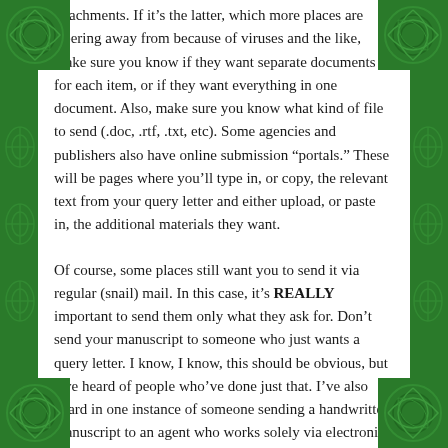attachments. If it's the latter, which more places are steering away from because of viruses and the like, make sure you know if they want separate documents for each item, or if they want everything in one document. Also, make sure you know what kind of file to send (.doc, .rtf, .txt, etc). Some agencies and publishers also have online submission “portals.” These will be pages where you’ll type in, or copy, the relevant text from your query letter and either upload, or paste in, the additional materials they want.
Of course, some places still want you to send it via regular (snail) mail. In this case, it’s REALLY important to send them only what they ask for. Don’t send your manuscript to someone who just wants a query letter. I know, I know, this should be obvious, but I’ve heard of people who’ve done just that. I’ve also heard in one instance of someone sending a handwritten manuscript to an agent who works solely via electronic submissions (and clearly